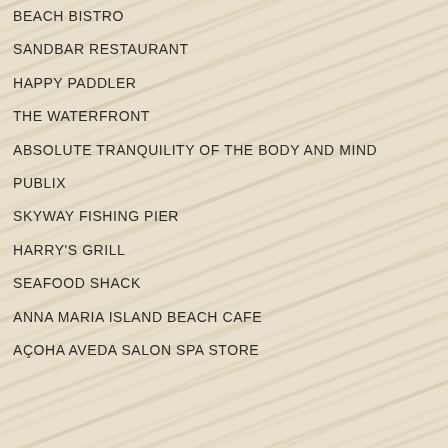BEACH BISTRO
SANDBAR RESTAURANT
HAPPY PADDLER
THE WATERFRONT
ABSOLUTE TRANQUILITY OF THE BODY AND MIND
PUBLIX
SKYWAY FISHING PIER
HARRY'S GRILL
SEAFOOD SHACK
ANNA MARIA ISLAND BEACH CAFE
AÇOHA AVEDA SALON SPA STORE